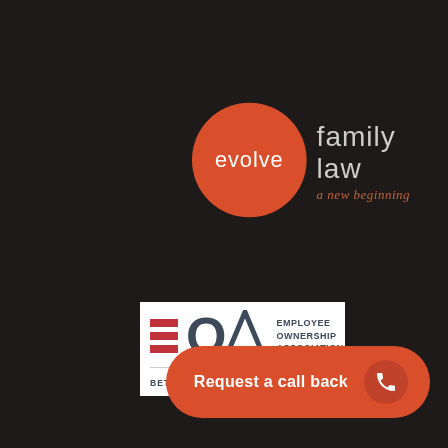[Figure (logo): Evolve Family Law logo: orange circle with 'evolve' in white text, followed by 'family law' in light gray and 'a new beginning' in orange-brown italic text]
[Figure (logo): Employee Ownership Association logo with EOA letters and red horizontal bars, text reads EMPLOYEE OWNERSHIP ASSOCIATION and BETTER BUSINESS TOGETHER on white background]
[Figure (other): Orange rounded button with text 'Request a call back' and phone icon on the right]